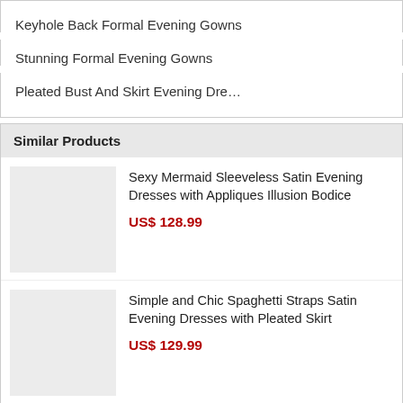Keyhole Back Formal Evening Gowns
Stunning Formal Evening Gowns
Pleated Bust And Skirt Evening Dre…
Similar Products
Sexy Mermaid Sleeveless Satin Evening Dresses with Appliques Illusion Bodice
US$ 128.99
Simple and Chic Spaghetti Straps Satin Evening Dresses with Pleated Skirt
US$ 129.99
Simple Double V-Neck Elastic Silk Like Satin Evening Dresses with Pleated Detail
US$ 127.99
Discount Spaghetti Straps Pleated Tulle Evening Dresses with Asymmetrical High-Low Skirt